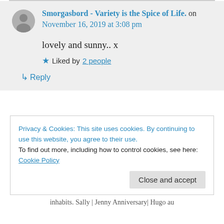Smorgasbord - Variety is the Spice of Life. on November 16, 2019 at 3:08 pm
lovely and sunny.. x
Liked by 2 people
↳ Reply
Privacy & Cookies: This site uses cookies. By continuing to use this website, you agree to their use. To find out more, including how to control cookies, see here: Cookie Policy
Close and accept
inhabits. Sally | Jenny Anniversary| Hugo au